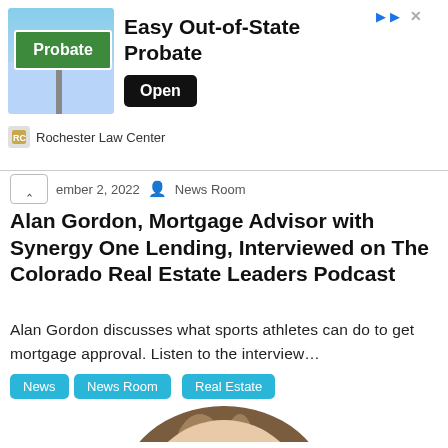[Figure (screenshot): Advertisement banner for Rochester Law Center featuring an Easy Out-of-State Probate ad with a green street sign labeled Probate, headline text, and an Open button.]
ember 2, 2022  News Room
Alan Gordon, Mortgage Advisor with Synergy One Lending, Interviewed on The Colorado Real Estate Leaders Podcast
Alan Gordon discusses what sports athletes can do to get mortgage approval. Listen to the interview…
News
News Room
Real Estate
[Figure (photo): Partial headshot of a person with long hair against a white background, showing the top of the head and face cropped.]